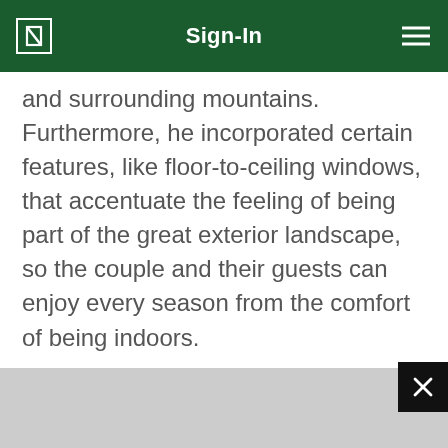Sign-In
and surrounding mountains. Furthermore, he incorporated certain features, like floor-to-ceiling windows, that accentuate the feeling of being part of the great exterior landscape, so the couple and their guests can enjoy every season from the comfort of being indoors.
The home's living space consists of 6,800 square feet spread over three levels. Besides the central room, it includes seven bedrooms, six bathrooms, a sauna room and an eye-catching